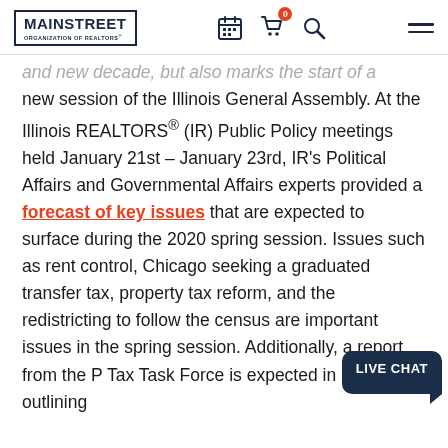MAINSTREET ORGANIZATION OF REALTORS® — navigation header
and new decade, but also marks the start of a new session of the Illinois General Assembly. At the Illinois REALTORS® (IR) Public Policy meetings held January 21st – January 23rd, IR's Political Affairs and Governmental Affairs experts provided a forecast of key issues that are expected to surface during the 2020 spring session. Issues such as rent control, Chicago seeking a graduated transfer tax, property tax reform, and the redistricting to follow the census are important issues in the spring session. Additionally, a report from the Property Tax Task Force is expected in March, outlining